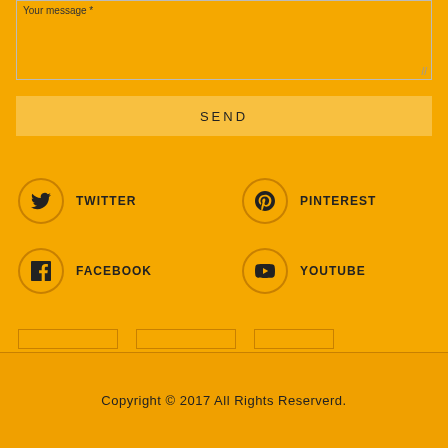Your message *
SEND
TWITTER
PINTEREST
FACEBOOK
YOUTUBE
Copyright © 2017 All Rights Reserverd.